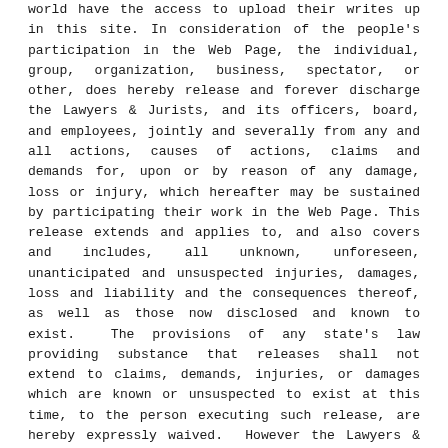world have the access to upload their writes up in this site. In consideration of the people's participation in the Web Page, the individual, group, organization, business, spectator, or other, does hereby release and forever discharge the Lawyers & Jurists, and its officers, board, and employees, jointly and severally from any and all actions, causes of actions, claims and demands for, upon or by reason of any damage, loss or injury, which hereafter may be sustained by participating their work in the Web Page. This release extends and applies to, and also covers and includes, all unknown, unforeseen, unanticipated and unsuspected injuries, damages, loss and liability and the consequences thereof, as well as those now disclosed and known to exist.  The provisions of any state's law providing substance that releases shall not extend to claims, demands, injuries, or damages which are known or unsuspected to exist at this time, to the person executing such release, are hereby expressly waived.  However the Lawyers & Jurists makes no warranty expressed or implied or assumes any legal liability or responsibility for the accuracy, completeness or usefulness of any information, apparatus, product or process disclosed, or represents that its use would not